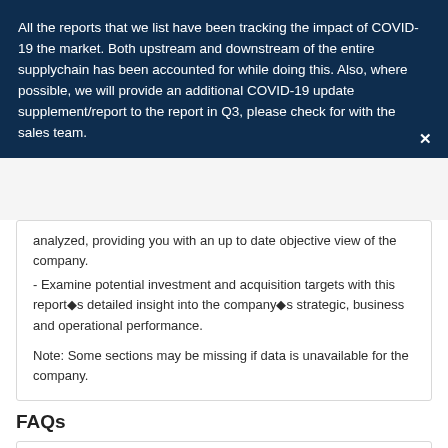All the reports that we list have been tracking the impact of COVID-19 the market. Both upstream and downstream of the entire supplychain has been accounted for while doing this. Also, where possible, we will provide an additional COVID-19 update supplement/report to the report in Q3, please check for with the sales team.
analyzed, providing you with an up to date objective view of the company.
- Examine potential investment and acquisition targets with this report◆s detailed insight into the company◆s strategic, business and operational performance.

Note: Some sections may be missing if data is unavailable for the company.
FAQs
What is market research report?
Market research is a defined process to collect